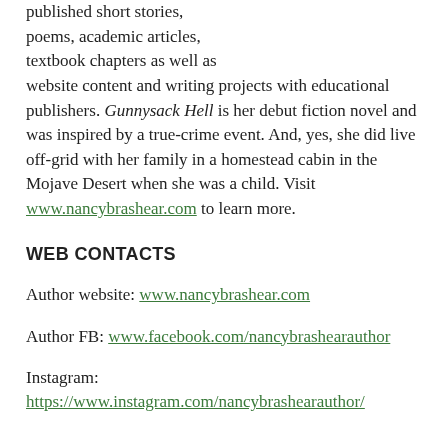published short stories, poems, academic articles, textbook chapters as well as website content and writing projects with educational publishers. Gunnysack Hell is her debut fiction novel and was inspired by a true-crime event. And, yes, she did live off-grid with her family in a homestead cabin in the Mojave Desert when she was a child. Visit www.nancybrashear.com to learn more.
WEB CONTACTS
Author website: www.nancybrashear.com
Author FB: www.facebook.com/nancybrashearauthor
Instagram: https://www.instagram.com/nancybrashearauthor/